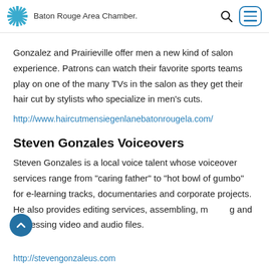Baton Rouge Area Chamber.
Gonzalez and Prairieville offer men a new kind of salon experience. Patrons can watch their favorite sports teams play on one of the many TVs in the salon as they get their hair cut by stylists who specialize in men’s cuts.
http://www.haircutmensiegenlanebatonrougela.com/
Steven Gonzales Voiceovers
Steven Gonzales is a local voice talent whose voiceover services range from “caring father” to “hot bowl of gumbo” for e-learning tracks, documentaries and corporate projects. He also provides editing services, assembling, mixing and processing video and audio files.
http://stevengonzaleus.com